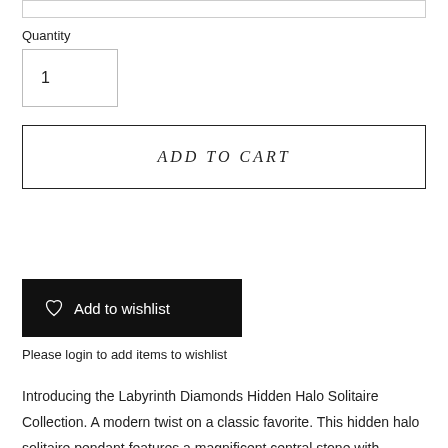Quantity
1
ADD TO CART
Add to wishlist
Please login to add items to wishlist
Introducing the Labyrinth Diamonds Hidden Halo Solitaire Collection. A modern twist on a classic favorite. This hidden halo solitaire pendant features a magnificent central stone with discreetly hidden bead set lab